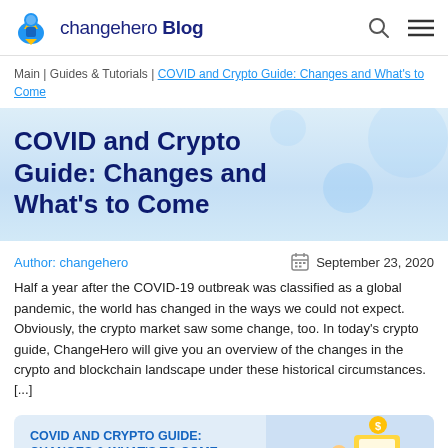changehero Blog
Main | Guides & Tutorials | COVID and Crypto Guide: Changes and What's to Come
COVID and Crypto Guide: Changes and What's to Come
Author: changehero   September 23, 2020
Half a year after the COVID-19 outbreak was classified as a global pandemic, the world has changed in the ways we could not expect. Obviously, the crypto market saw some change, too. In today's crypto guide, ChangeHero will give you an overview of the changes in the crypto and blockchain landscape under these historical circumstances. [...]
[Figure (illustration): Blog post thumbnail card for COVID and Crypto Guide: Changes & What's to Come, featuring COVID-19 virus illustrations and a person at a computer screen]